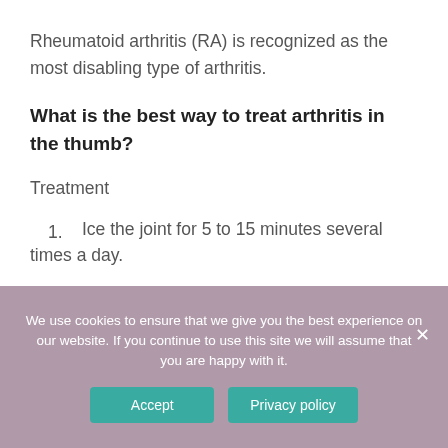Rheumatoid arthritis (RA) is recognized as the most disabling type of arthritis.
What is the best way to treat arthritis in the thumb?
Treatment
1. Ice the joint for 5 to 15 minutes several times a day.
We use cookies to ensure that we give you the best experience on our website. If you continue to use this site we will assume that you are happy with it.